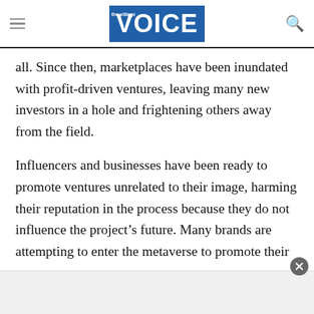Village Voice
all. Since then, marketplaces have been inundated with profit-driven ventures, leaving many new investors in a hole and frightening others away from the field.
Influencers and businesses have been ready to promote ventures unrelated to their image, harming their reputation in the process because they do not influence the project’s future. Many brands are attempting to enter the metaverse to promote their